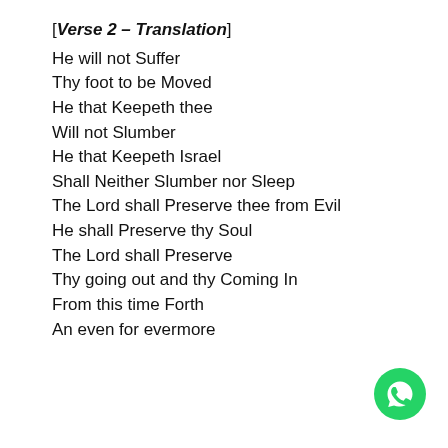[Verse 2 – Translation]
He will not Suffer
Thy foot to be Moved
He that Keepeth thee
Will not Slumber
He that Keepeth Israel
Shall Neither Slumber nor Sleep
The Lord shall Preserve thee from Evil
He shall Preserve thy Soul
The Lord shall Preserve
Thy going out and thy Coming In
From this time Forth
An even for evermore
[Figure (logo): WhatsApp green circle logo with phone handset icon]